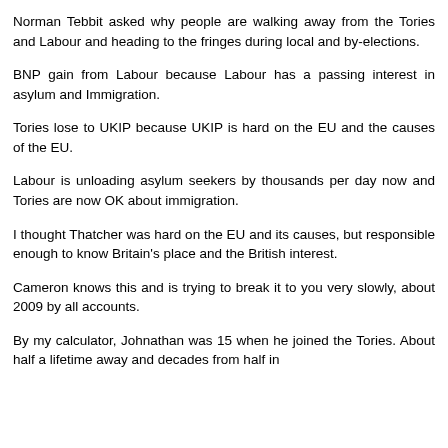Norman Tebbit asked why people are walking away from the Tories and Labour and heading to the fringes during local and by-elections.
BNP gain from Labour because Labour has a passing interest in asylum and Immigration.
Tories lose to UKIP because UKIP is hard on the EU and the causes of the EU.
Labour is unloading asylum seekers by thousands per day now and Tories are now OK about immigration.
I thought Thatcher was hard on the EU and its causes, but responsible enough to know Britain's place and the British interest.
Cameron knows this and is trying to break it to you very slowly, about 2009 by all accounts.
By my calculator, Johnathan was 15 when he joined the Tories. About half a lifetime away and decades from half in